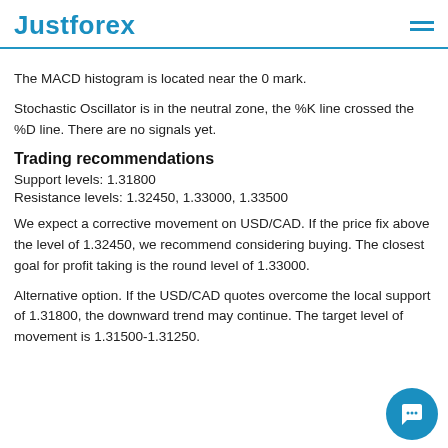JustForex
The MACD histogram is located near the 0 mark.
Stochastic Oscillator is in the neutral zone, the %K line crossed the %D line. There are no signals yet.
Trading recommendations
Support levels: 1.31800
Resistance levels: 1.32450, 1.33000, 1.33500
We expect a corrective movement on USD/CAD. If the price fix above the level of 1.32450, we recommend considering buying. The closest goal for profit taking is the round level of 1.33000.
Alternative option. If the USD/CAD quotes overcome the local support of 1.31800, the downward trend may continue. The target level of movement is 1.31500-1.31250.